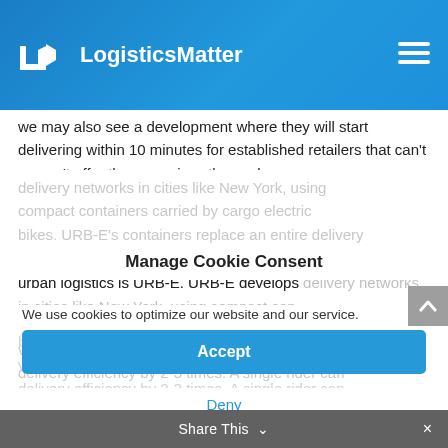LogisticsMatter
we may also see a development where they will start delivering within 10 minutes for established retailers that can't or won't offer these services themselves.
An excellent example of a start-up sustainably improving urban logistics is URB-E. URB-E develops delivery networks in cities like New York, using compact containers carried by cargo electric bikes. URB-E's containers replace an entire delivery van by carrying many more items, increasing delivery efficiency by 2-3 times. A single rider can move over 800 pounds of goods through city streets faster and more sustainably than a traditional delivery trucks.
Manage Cookie Consent
We use cookies to optimize our website and our service.
Accept
Deny
Share This